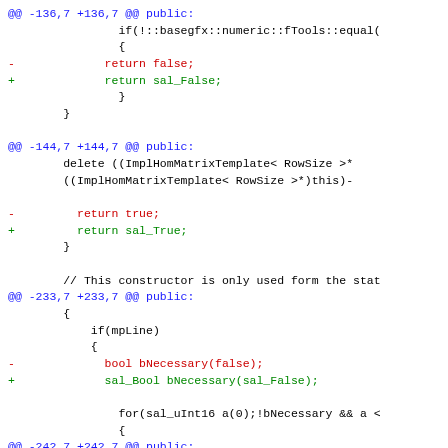code diff showing changes from bool/true/false to sal_Bool/sal_True/sal_False types
@@ -136,7 +136,7 @@ public:
if(!::basegfx::numeric::fTools::equal(
{
-             return false;
+             return sal_False;
}
}
@@ -144,7 +144,7 @@ public:
delete ((ImplHomMatrixTemplate< RowSize >*
((ImplHomMatrixTemplate< RowSize >*)this)-
-         return true;
+         return sal_True;
}
// This constructor is only used form the stat
@@ -233,7 +233,7 @@ public:
{
if(mpLine)
{
-             bool bNecessary(false);
+             sal_Bool bNecessary(sal_False);
for(sal_uInt16 a(0);!bNecessary && a <
{
@@ -242,7 +242,7 @@ public:
if(!::basegfx::numeric::fTools::eq